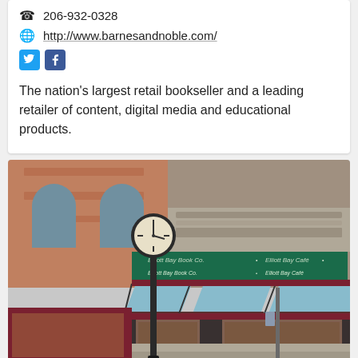206-932-0328
http://www.barnesandnoble.com/
The nation's largest retail bookseller and a leading retailer of content, digital media and educational products.
[Figure (photo): Street-level exterior photo of Elliott Bay Book Co. with Elliott Bay Café awning signage, a decorative street clock on a post in the foreground, and storefront windows displaying books. Historic brick building visible in background.]